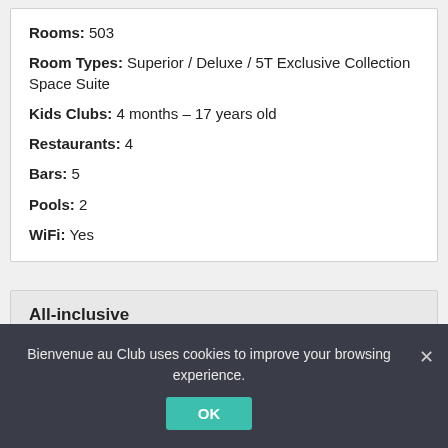Rooms: 503
Room Types: Superior / Deluxe / 5T Exclusive Collection Space Suite
Kids Clubs: 4 months – 17 years old
Restaurants: 4
Bars: 5
Pools: 2
WiFi: Yes
All-inclusive
Bienvenue au Club uses cookies to improve your browsing experience.
OK